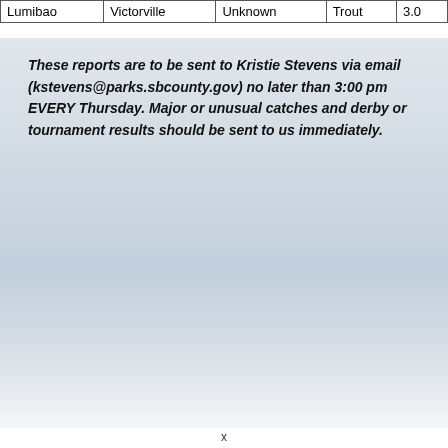| Lumibao | Victorville | Unknown | Trout | 3.0 |
These reports are to be sent to Kristie Stevens via email (kstevens@parks.sbcounty.gov) no later than 3:00 pm EVERY Thursday. Major or unusual catches and derby or tournament results should be sent to us immediately.
x